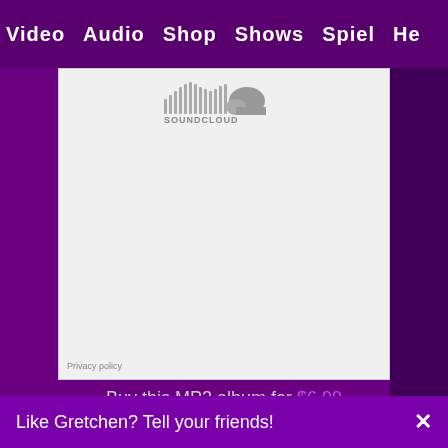Video  Audio  Shop  Shows  Spiel  He
[Figure (screenshot): SoundCloud embedded audio player widget showing the SoundCloud logo (waveform icon and 'SOUNDCLOUD' text) on a light gray/white background, with a 'Privacy policy' link in the bottom left corner.]
Buy this MP3 album for $6.99
Like Gretchen? Tell your friends!